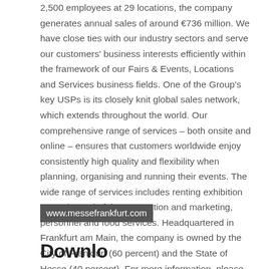2,500 employees at 29 locations, the company generates annual sales of around €736 million. We have close ties with our industry sectors and serve our customers' business interests efficiently within the framework of our Fairs & Events, Locations and Services business fields. One of the Group's key USPs is its closely knit global sales network, which extends throughout the world. Our comprehensive range of services – both onsite and online – ensures that customers worldwide enjoy consistently high quality and flexibility when planning, organising and running their events. The wide range of services includes renting exhibition grounds, trade fair construction and marketing, personnel and food services. Headquartered in Frankfurt am Main, the company is owned by the City of Frankfurt (60 percent) and the State of Hesse (40 percent). For more information, please visit our website at:
www.messefrankfurt.com
Downlo